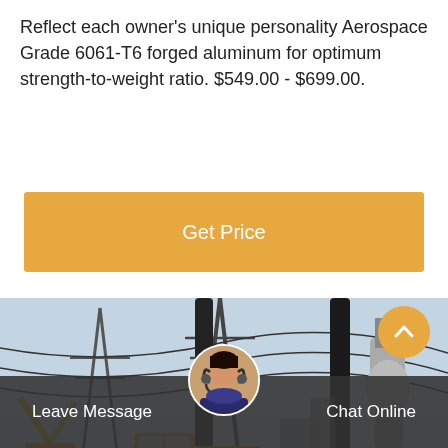Reflect each owner's unique personality Aerospace Grade 6061-T6 forged aluminum for optimum strength-to-weight ratio. $549.00 - $699.00.
[Figure (other): Orange 'Get Price' button]
[Figure (photo): Yellow utility trucks and crane vehicles at an electrical substation with power lines and equipment]
[Figure (other): Bottom navigation bar with 'Leave Message' on left, customer service avatar in center, and 'Chat Online' on right. Orange scroll-up arrow button on lower right.]